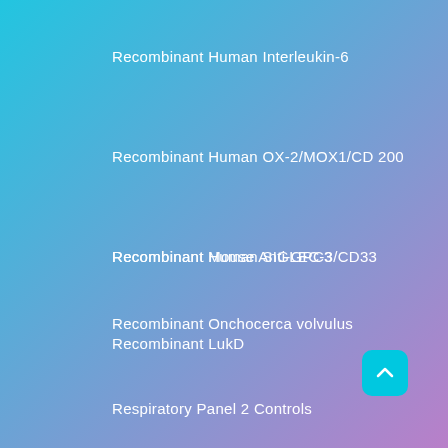Recombinant Human Interleukin-6
Recombinant Human OX-2/MOX1/CD200
Recombinant Human SIGLEC-3/CD33
Recombinant LukD
Recombinant Mouse Anti-GPC3
Recombinant Onchocerca volvulus
Respiratory Panel 2 Controls